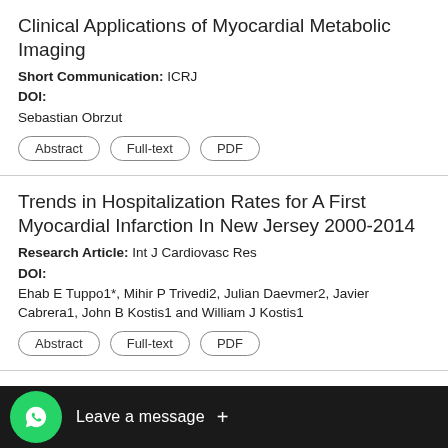Clinical Applications of Myocardial Metabolic Imaging
Short Communication: ICRJ
DOI:
Sebastian Obrzut
Abstract | Full-text | PDF
Trends in Hospitalization Rates for A First Myocardial Infarction In New Jersey 2000-2014
Research Article: Int J Cardiovasc Res
DOI:
Ehab E Tuppo1*, Mihir P Trivedi2, Julian Daevmer2, Javier Cabrera1, John B Kostis1 and William J Kostis1
Abstract | Full-text | PDF
Pharmacists' Perceptions about Their Role in Prevention in Cyprus
DOI: